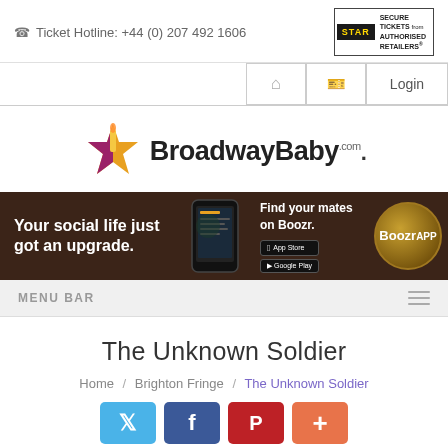Ticket Hotline: +44 (0) 207 492 1606
[Figure (logo): STAR - Secure Tickets from Authorised Retailers badge]
[Figure (logo): BroadwayBaby.com logo with star graphic]
[Figure (infographic): Boozr app advertisement banner: 'Your social life just got an upgrade. Find your mates on Boozr.' with App Store and Google Play buttons]
MENU BAR
The Unknown Soldier
Home / Brighton Fringe / The Unknown Soldier
[Figure (photo): Partial image strip visible at bottom of page]
[Figure (infographic): Social share buttons: Twitter, Facebook, Pinterest, Plus]